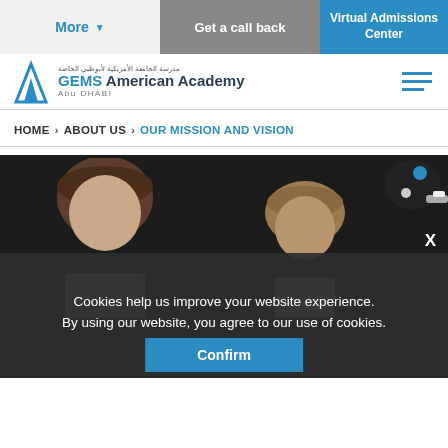More | Get a call back | Virtual Admissions Center
[Figure (logo): GEMS American Academy Abu Dhabi logo with blue triangle/mountain icon]
HOME > ABOUT US > OUR MISSION AND VISION
[Figure (photo): Students working with a robotic device in a dark room or studio setting. Partial view of two students' heads/faces with a robot car visible to the right.]
Cookies help us improve your website experience. By using our website, you agree to our use of cookies.
Confirm